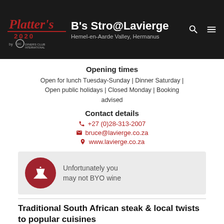B's Stro@Lavierge – Hemel-en-Aarde Valley, Hermanus
Opening times
Open for lunch Tuesday-Sunday | Dinner Saturday | Open public holidays | Closed Monday | Booking advised
Contact details
+27 (0)28-313-2007
bruce@lavierge.co.za
www.lavierge.co.za
Unfortunately you may not BYO wine
Traditional South African steak & local twists to popular cuisines
At the summit of an infamous cycling hill, with a superb